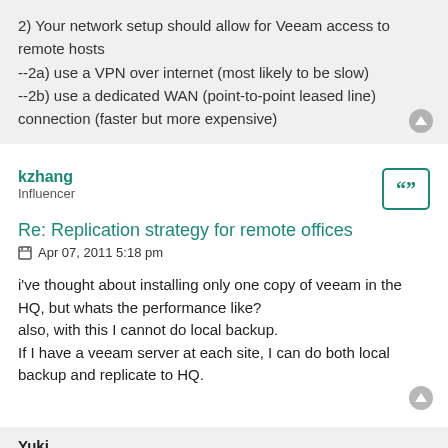2) Your network setup should allow for Veeam access to remote hosts
--2a) use a VPN over internet (most likely to be slow)
--2b) use a dedicated WAN (point-to-point leased line) connection (faster but more expensive)
kzhang
Influencer
Re: Replication strategy for remote offices
Apr 07, 2011 5:18 pm
i've thought about installing only one copy of veeam in the HQ, but whats the performance like?
also, with this I cannot do local backup.
If I have a veeam server at each site, I can do both local backup and replicate to HQ.
Yuki
Veeam ProPartner
Re: Replication strategy for remote offices
Apr 07, 2011 5:57 pm